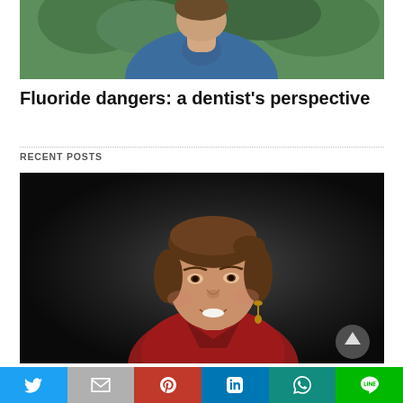[Figure (photo): Partial view of a person in a blue shirt outdoors with green foliage in background — top portion cropped]
Fluoride dangers: a dentist’s perspective
RECENT POSTS
[Figure (photo): Professional portrait of a smiling woman with brown hair pulled back, wearing a red top and gold earrings, against a dark background. A scroll-to-top arrow button overlays the bottom-right corner.]
BLOG  LIFESTYLE
[Figure (other): Social sharing bar with icons for Twitter, Gmail/Email, Pinterest, LinkedIn, WhatsApp, and LINE]